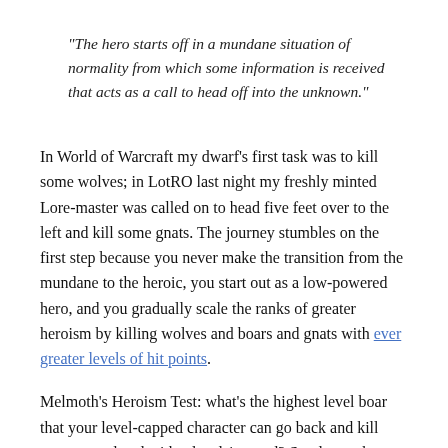“The hero starts off in a mundane situation of normality from which some information is received that acts as a call to head off into the unknown.”
In World of Warcraft my dwarf’s first task was to kill some wolves; in LotRO last night my freshly minted Lore-master was called on to head five feet over to the left and kill some gnats. The journey stumbles on the first step because you never make the transition from the mundane to the heroic, you start out as a low-powered hero, and you gradually scale the ranks of greater heroism by killing wolves and boars and gnats with ever greater levels of hit points.
Melmoth’s Heroism Test: what’s the highest level boar that your level-capped character can go back and kill unarmoured and with a level 1 sword? Surely any hero with a sword should